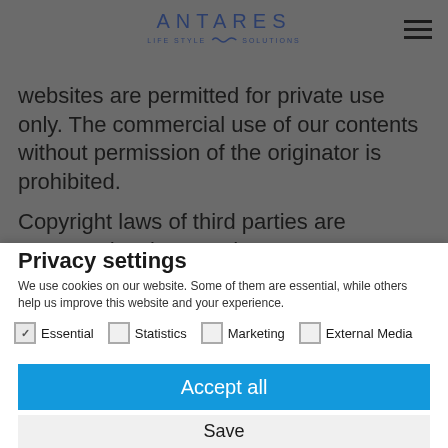ANTARES LIFE STYLE SOLUTIONS
websites are permitted for private use only. The commercial use of our contents without permission of the originator is prohibited.

Copyright laws of third parties are respected as long as the contents on these websites do not originate
Privacy settings
We use cookies on our website. Some of them are essential, while others help us improve this website and your experience.
Essential (checked), Statistics, Marketing, External Media
Accept all
Save